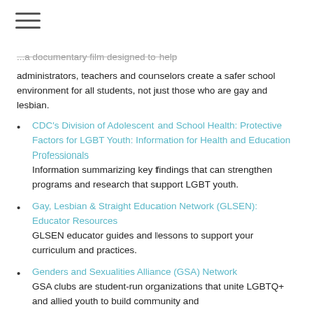...a documentary film designed to help administrators, teachers and counselors create a safer school environment for all students, not just those who are gay and lesbian.
CDC's Division of Adolescent and School Health: Protective Factors for LGBT Youth: Information for Health and Education Professionals — Information summarizing key findings that can strengthen programs and research that support LGBT youth.
Gay, Lesbian & Straight Education Network (GLSEN): Educator Resources — GLSEN educator guides and lessons to support your curriculum and practices.
Genders and Sexualities Alliance (GSA) Network — GSA clubs are student-run organizations that unite LGBTQ+ and allied youth to build community and